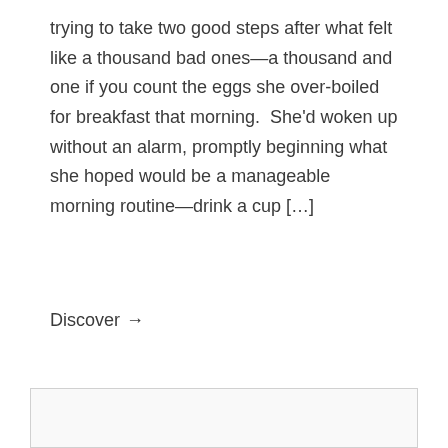trying to take two good steps after what felt like a thousand bad ones—a thousand and one if you count the eggs she over-boiled for breakfast that morning.  She'd woken up without an alarm, promptly beginning what she hoped would be a manageable morning routine—drink a cup […]
Discover →